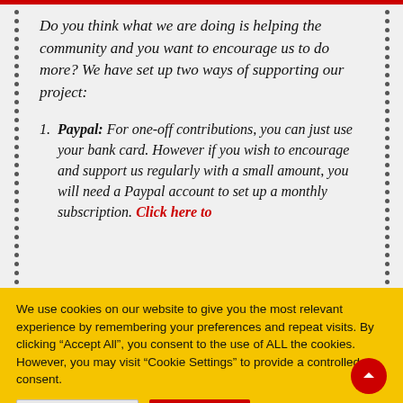Do you think what we are doing is helping the community and you want to encourage us to do more? We have set up two ways of supporting our project:
Paypal: For one-off contributions, you can just use your bank card. However if you wish to encourage and support us regularly with a small amount, you will need a Paypal account to set up a monthly subscription. Click here to
We use cookies on our website to give you the most relevant experience by remembering your preferences and repeat visits. By clicking "Accept All", you consent to the use of ALL the cookies. However, you may visit "Cookie Settings" to provide a controlled consent.